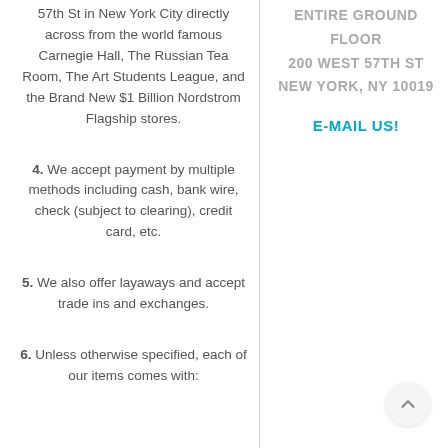57th St in New York City directly across from the world famous Carnegie Hall, The Russian Tea Room, The Art Students League, and the Brand New $1 Billion Nordstrom Flagship stores.
4. We accept payment by multiple methods including cash, bank wire, check (subject to clearing), credit card, etc.
5. We also offer layaways and accept trade ins and exchanges.
6. Unless otherwise specified, each of our items comes with:
ENTIRE GROUND FLOOR 200 WEST 57TH ST NEW YORK, NY 10019
E-MAIL US!